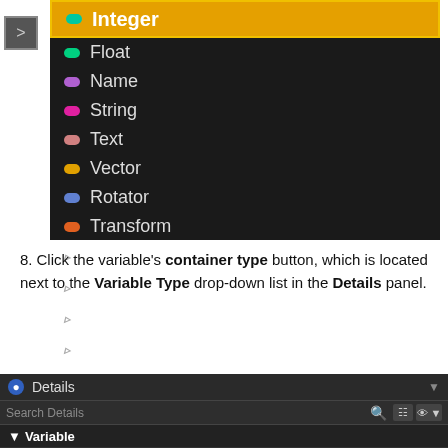[Figure (screenshot): Unreal Engine variable type dropdown showing Integer selected (highlighted in yellow/gold), with Float, Name, String, Text, Vector, Rotator, Transform listed, and Structure, Interface, Object Types, Enum expandable categories below]
8. Click the variable's container type button, which is located next to the Variable Type drop-down list in the Details panel.
[Figure (screenshot): Unreal Engine Details panel showing Search Details bar and Variable section header]